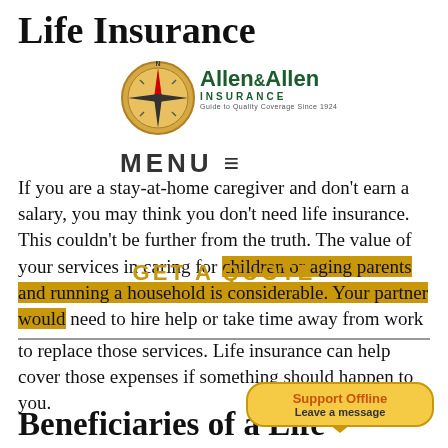Life Insurance
[Figure (logo): Allen & Allen Insurance compass logo with text 'Allen & Allen INSURANCE Guide to Quality Coverage Since 1924']
MENU ≡
If you are a stay-at-home caregiver and don't earn a salary, you may think you don't need life insurance. This couldn't be further from the truth. The value of your services in caring for children or aging parents and running a household is considerable. Your partner would need to hire help or take time away from work
GET A QUOTE
to replace those services. Life insurance can help cover those expenses if something should happen to you.
[Figure (other): Support Offline - Leave a message chat bubble widget]
Beneficiaries of a Life